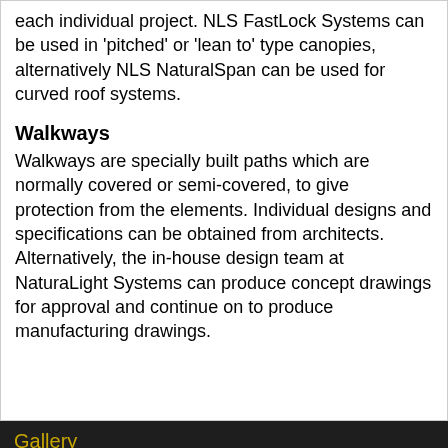each individual project. NLS FastLock Systems can be used in 'pitched' or 'lean to' type canopies, alternatively NLS NaturalSpan can be used for curved roof systems.
Walkways
Walkways are specially built paths which are normally covered or semi-covered, to give protection from the elements. Individual designs and specifications can be obtained from architects. Alternatively, the in-house design team at NaturaLight Systems can produce concept drawings for approval and continue on to produce manufacturing drawings.
Gallery
Products & Services
See all Products & Services
skylights Brighton
rooflights Birmingham
Location Map